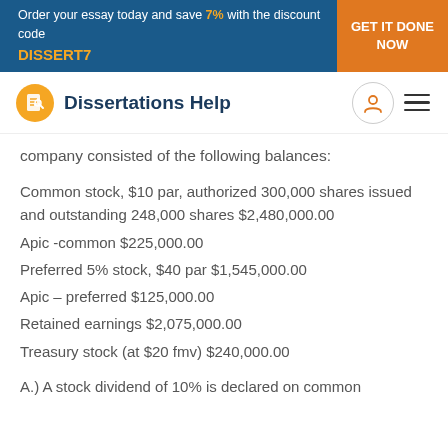Order your essay today and save 7% with the discount code DISSERT7 | GET IT DONE NOW
Dissertations Help
company consisted of the following balances:
Common stock, $10 par, authorized 300,000 shares issued and outstanding 248,000 shares $2,480,000.00
Apic -common $225,000.00
Preferred 5% stock, $40 par $1,545,000.00
Apic – preferred $125,000.00
Retained earnings $2,075,000.00
Treasury stock (at $20 fmv) $240,000.00
A.) A stock dividend of 10% is declared on common